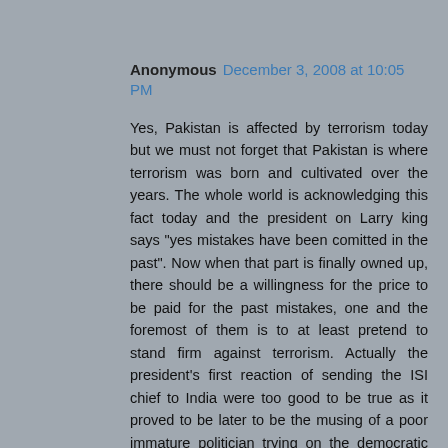Anonymous December 3, 2008 at 10:05 PM
Yes, Pakistan is affected by terrorism today but we must not forget that Pakistan is where terrorism was born and cultivated over the years. The whole world is acknowledging this fact today and the president on Larry king says "yes mistakes have been comitted in the past". Now when that part is finally owned up, there should be a willingness for the price to be paid for the past mistakes, one and the foremost of them is to at least pretend to stand firm against terrorism. Actually the president's first reaction of sending the ISI chief to India were too good to be true as it proved to be later to be the musing of a poor immature politician trying on the democratic garb & thinking he was actually in charge. The president's interview on Larry King live again and again refers to stateless actors - a phrase that the president has coined to have headroom to wriggle out of situation in which he certainly will be caught later. It will not be very difficult to see if these people really came from Pakistan. All this is not really needed. Actually Pakistani govt started with some uncahracteristic and